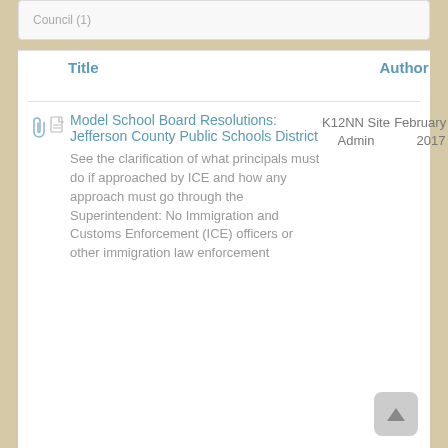Council (1)
| Title | Author | Last Edited |
| --- | --- | --- |
| Model School Board Resolutions: Jefferson County Public Schools District — See the clarification of what principals must do if approached by ICE and how any approach must go through the Superintendent: No Immigration and Customs Enforcement (ICE) officers or other immigration law enforcement | K12NN Site Admin | February 10, 2017 |